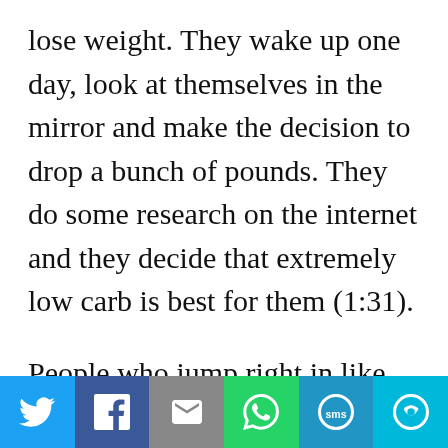lose weight. They wake up one day, look at themselves in the mirror and make the decision to drop a bunch of pounds. They do some research on the internet and they decide that extremely low carb is best for them (1:31).
People who jump right in like I've described tend to want to lose the weight faster than humanly possible. They don't really want to do the work long term. They think they can make some drastic
[Figure (infographic): Social sharing bar with six buttons: Twitter (blue), Facebook (dark blue), Email (gray), WhatsApp (green), SMS (blue), More (cyan)]